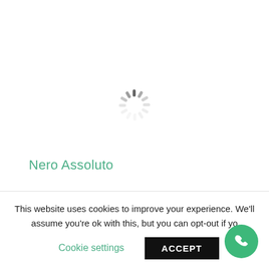[Figure (other): Spinning loading indicator (animated spinner) centered on a white background]
Nero Assoluto
This website uses cookies to improve your experience. We'll assume you're ok with this, but you can opt-out if yo
Cookie settings
ACCEPT